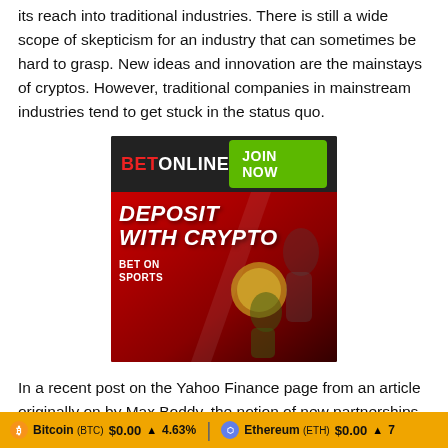its reach into traditional industries. There is still a wide scope of skepticism for an industry that can sometimes be hard to grasp. New ideas and innovation are the mainstays of cryptos. However, traditional companies in mainstream industries tend to get stuck in the status quo.
[Figure (infographic): BetOnline advertisement: dark header bar with red BET and white ONLINE logo and green JOIN NOW button. Lower section shows red/dark gradient background with white bold italic text DEPOSIT WITH CRYPTO and BET ON SPORTS, plus sports imagery of football and basketball players.]
In a recent post on the Yahoo Finance page from an article originally on by Max Boddy, the notion of new partnerships was discussed. Alexandra Koch is the CEO of Onchain Custodial. He
Bitcoin (BTC) $0.00 ▲ 4.63%   Ethereum (ETH) $0.00 ▲ 7